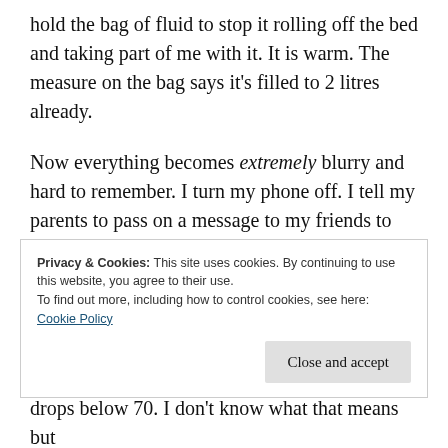hold the bag of fluid to stop it rolling off the bed and taking part of me with it. It is warm. The measure on the bag says it's filled to 2 litres already.
Now everything becomes extremely blurry and hard to remember. I turn my phone off. I tell my parents to pass on a message to my friends to not come and visit me until I'm feeling better. I start this disgusting burping, caused by taking Oramorph on an empty stomach. I throw up, a lot. Bridget is extremely kind to me, the unpleasant nurse is not.
Privacy & Cookies: This site uses cookies. By continuing to use this website, you agree to their use. To find out more, including how to control cookies, see here: Cookie Policy
drops below 70. I don't know what that means but